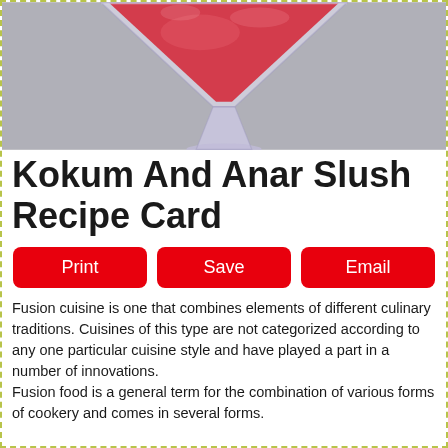[Figure (photo): A martini glass filled with a red/pink slushy frozen drink (Kokum And Anar Slush), photographed against a grey background.]
Kokum And Anar Slush Recipe Card
Print  Save  Email
Fusion cuisine is one that combines elements of different culinary traditions. Cuisines of this type are not categorized according to any one particular cuisine style and have played a part in a number of innovations.
Fusion food is a general term for the combination of various forms of cookery and comes in several forms.